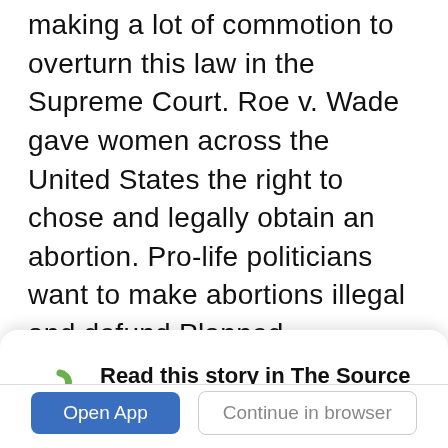making a lot of commotion to overturn this law in the Supreme Court. Roe v. Wade gave women across the United States the right to chose and legally obtain an abortion. Pro-life politicians want to make abortions illegal and defund Planned Parenthood. The nonprofit does not only offer safe abortions but they provide birth control, STD testing, vaccines, screening for reproductive cancers, prenatal care and pregancy services, condoms, transgender health services and hormone replacement therapy. They save the lives of those who have fallen by the wayside of our healthcare system. The right to chose and have access to an abortion gives women the safety of making their
Read this story in The Source App...
Open App
Continue in browser